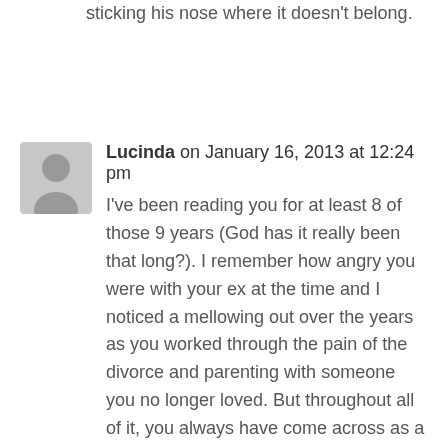sticking his nose where it doesn't belong.
Lucinda on January 16, 2013 at 12:24 pm
I've been reading you for at least 8 of those 9 years (God has it really been that long?). I remember how angry you were with your ex at the time and I noticed a mellowing out over the years as you worked through the pain of the divorce and parenting with someone you no longer loved. But throughout all of it, you always have come across as a kind, caring, deeply devoted mother who was hurt badly when her marriage fell apart. Any “jerkiness” you displayed was to be expected. So while I agree that you may not have always made the best choices early on in regard to what you wrote, don't be too hard on yourself now. It was always clear you were doing the very best you